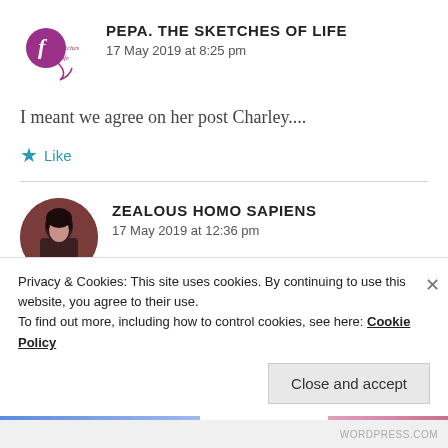PEPA. THE SKETCHES OF LIFE
17 May 2019 at 8:25 pm
I meant we agree on her post Charley....
Like
ZEALOUS HOMO SAPIENS
17 May 2019 at 12:36 pm
Privacy & Cookies: This site uses cookies. By continuing to use this website, you agree to their use.
To find out more, including how to control cookies, see here: Cookie Policy
Close and accept